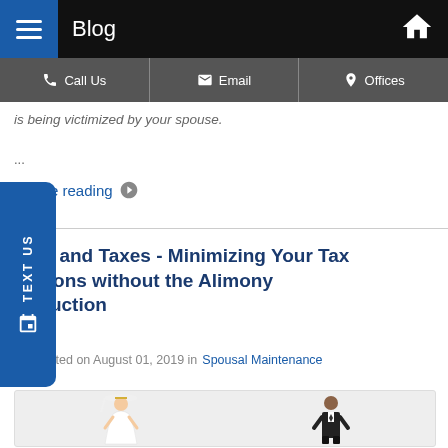Blog
Call Us | Email | Offices
is being victimized by your spouse.
...
Continue reading
Divorce and Taxes - Minimizing Your Tax Obligations without the Alimony Deduction
Posted on August 01, 2019 in Spousal Maintenance
[Figure (photo): Wedding figurines: bride in white dress and groom in black suit]